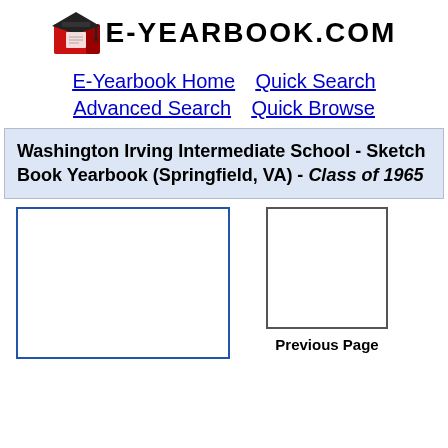[Figure (logo): E-Yearbook.com logo with graduation cap icon and bold site name text]
E-Yearbook Home  Quick Search  Advanced Search  Quick Browse
Washington Irving Intermediate School - Sketch Book Yearbook (Springfield, VA) - Class of 1965
[Figure (other): Large empty page preview box with blue border (left page)]
[Figure (other): Smaller empty page preview box with gray border (previous page)]
Previous Page